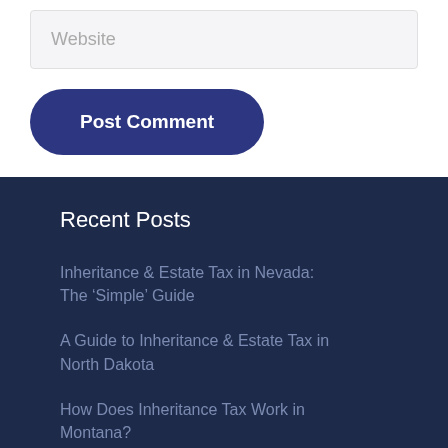Website
Post Comment
Recent Posts
Inheritance & Estate Tax in Nevada: The ‘Simple’ Guide
A Guide to Inheritance & Estate Tax in North Dakota
How Does Inheritance Tax Work in Montana?
Inheritance & Estate Tax in Idaho: How to Minimize